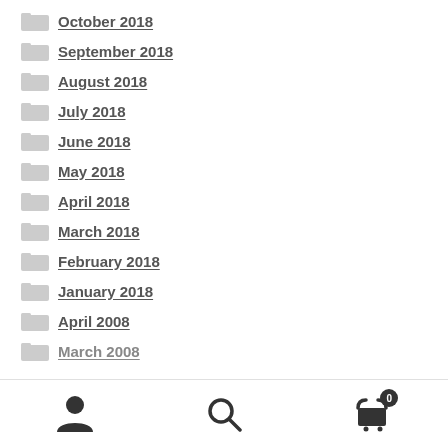October 2018
September 2018
August 2018
July 2018
June 2018
May 2018
April 2018
March 2018
February 2018
January 2018
April 2008
March 2008
user icon | search icon | cart icon with badge 0